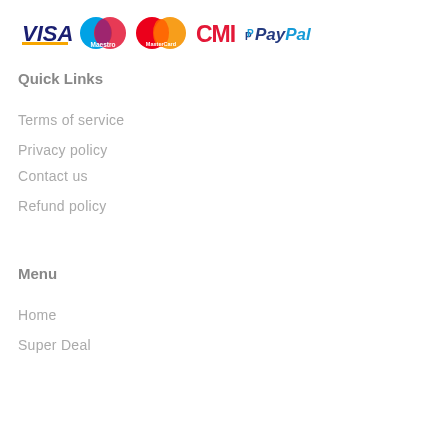[Figure (logo): Payment method logos: VISA, Maestro, MasterCard, CMI, PayPal]
Quick Links
Terms of service
Privacy policy
Contact us
Refund policy
Menu
Home
Super Deal